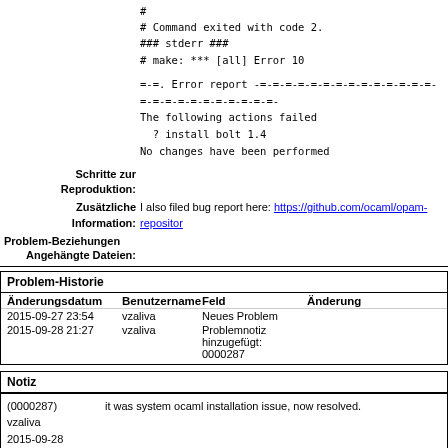#
# Command exited with code 2.
### stderr ###
# make: *** [all] Error 10
=-=. Error report -=-=-=-=-=-=-=-=-=-=-=-=-=-=-=-=-=-=-=-=-=-=-=-=-=-
The following actions failed
  ? install bolt 1.4
No changes have been performed
Schritte zur Reproduktion:
Zusätzliche Information: I also filed bug report here: https://github.com/ocaml/opam-repository
Problem-Beziehungen
Angehängte Dateien:
Problem-Historie
| Änderungsdatum | Benutzername | Feld | Änderung |
| --- | --- | --- | --- |
| 2015-09-27 23:54 | vzaliva | Neues Problem |  |
| 2015-09-28 21:27 | vzaliva | Problemnotiz hinzugefügt: 0000287 |  |
Notiz
(0000287)
vzaliva
2015-09-28
21:27
it was system ocaml installation issue, now resolved.